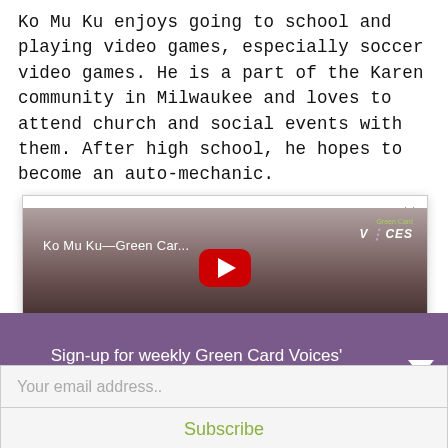Ko Mu Ku enjoys going to school and playing video games, especially soccer video games. He is a part of the Karen community in Milwaukee and loves to attend church and social events with them. After high school, he hopes to become an auto-mechanic.
[Figure (screenshot): YouTube video thumbnail popup overlay showing 'Ko Mu Ku—Green Car...' with Green Card Voices logo, YouTube play button, and a close (X) button in upper right corner.]
Sign-up for weekly Green Card Voices' updates!
Your email address..
Subscribe